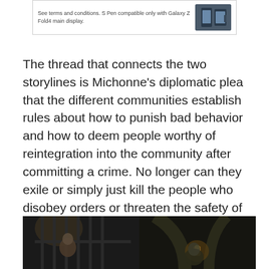[Figure (screenshot): Advertisement banner showing Samsung Galaxy Z Fold4 S Pen with text: 'See terms and conditions. S Pen compatible only with Galaxy Z Fold4 main display.']
The thread that connects the two storylines is Michonne's diplomatic plea that the different communities establish rules about how to punish bad behavior and how to deem people worthy of reintegration into the community after committing a crime. No longer can they exile or simply just kill the people who disobey orders or threaten the safety of others. They now need laws and consequences for breaking them.
[Figure (photo): Dark scene showing two figures: on the left, a person behind prison bars illuminated by light; on the right, a person holding a lantern in a stone archway setting.]